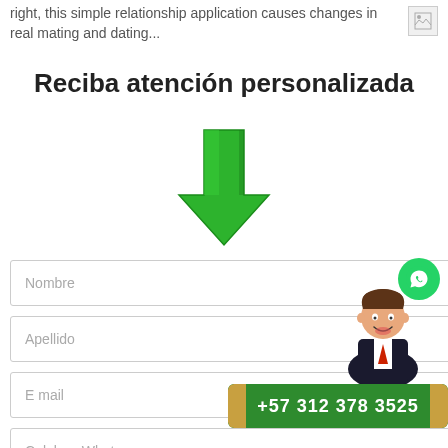right, this simple relationship application causes changes in real mating and dating...
[Figure (illustration): Broken image placeholder icon in top right]
Reciba atención personalizada
[Figure (illustration): Green downward arrow icon]
Nombre
Apellido
E mail
Celular - Whatsapp
Ciudad
[Figure (illustration): WhatsApp icon (green circle with phone), cartoon businessman character, and phone number banner +57 312 378 3525]